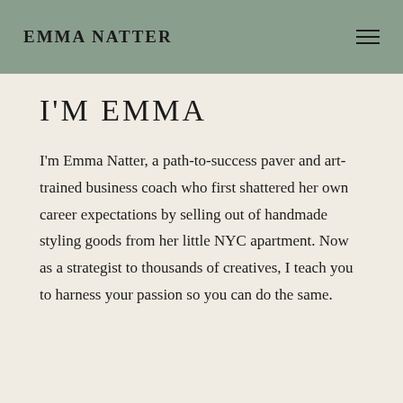EMMA NATTER
I'M EMMA
I'm Emma Natter, a path-to-success paver and art-trained business coach who first shattered her own career expectations by selling out of handmade styling goods from her little NYC apartment. Now as a strategist to thousands of creatives, I teach you to harness your passion so you can do the same.